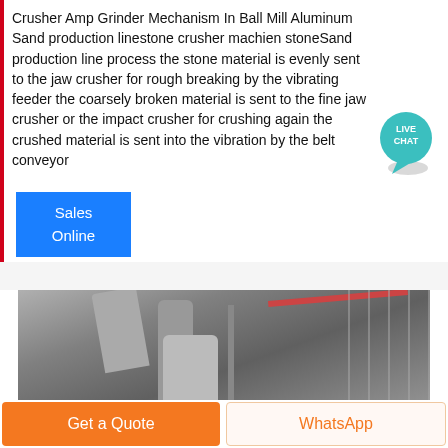Crusher Amp Grinder Mechanism In Ball Mill Aluminum Sand production linestone crusher machien stoneSand production line process the stone material is evenly sent to the jaw crusher for rough breaking by the vibrating feeder the coarsely broken material is sent to the fine jaw crusher or the impact crusher for crushing again the crushed material is sent into the vibration by the belt conveyor
[Figure (illustration): Live Chat speech bubble icon with teal/blue color and white text 'LIVE CHAT']
Sales Online
[Figure (photo): Industrial milling or grinding equipment inside a factory, showing large ducts, pipes, a cylindrical tank, and metal scaffolding structure in background.]
Get a Quote
WhatsApp